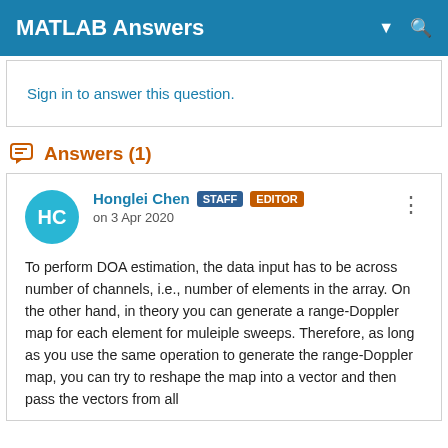MATLAB Answers
Sign in to answer this question.
Answers (1)
Honglei Chen STAFF EDITOR
on 3 Apr 2020
To perform DOA estimation, the data input has to be across number of channels, i.e., number of elements in the array. On the other hand, in theory you can generate a range-Doppler map for each element for muleiple sweeps. Therefore, as long as you use the same operation to generate the range-Doppler map, you can try to reshape the map into a vector and then pass the vectors from all